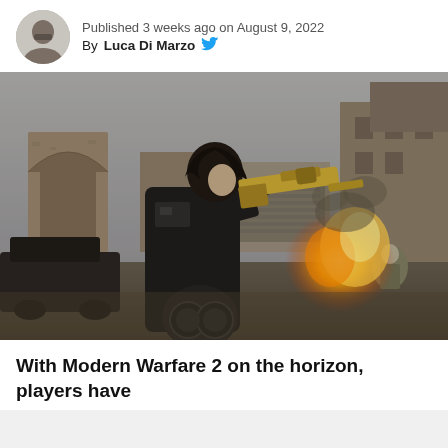Published 3 weeks ago on August 9, 2022
By Luca Di Marzo
[Figure (photo): Screenshot from a video game (Call of Duty: Modern Warfare 2) showing a soldier in black tactical gear holding a golden assault rifle, aiming at enemies in a war-torn urban environment with fire and explosion in the background.]
With Modern Warfare 2 on the horizon, players have